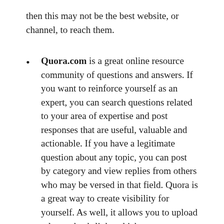then this may not be the best website, or channel, to reach them.
Quora.com is a great online resource community of questions and answers. If you want to reinforce yourself as an expert, you can search questions related to your area of expertise and post responses that are useful, valuable and actionable. If you have a legitimate question about any topic, you can post by category and view replies from others who may be versed in that field. Quora is a great way to create visibility for yourself. As well, it allows you to upload relevant back-links which encourage website traffic and linkbuilding.